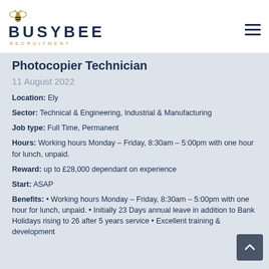[Figure (logo): Busybee Recruitment logo with bee icon, company name in dark navy, and RECRUITMENT subtitle in gold]
Photocopier Technician
11 August 2022
Location: Ely
Sector: Technical & Engineering, Industrial & Manufacturing
Job type: Full Time, Permanent
Hours: Working hours Monday – Friday, 8:30am – 5:00pm with one hour for lunch, unpaid.
Reward: up to £28,000 dependant on experience
Start: ASAP
Benefits: • Working hours Monday – Friday, 8:30am – 5:00pm with one hour for lunch, unpaid. • Initially 23 Days annual leave in addition to Bank Holidays rising to 26 after 5 years service • Excellent training & development